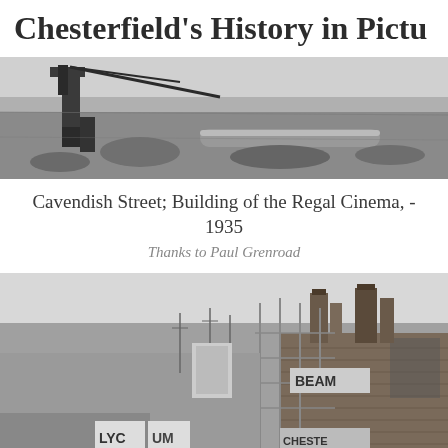Chesterfield's History in Pictu…
[Figure (photo): Black and white photograph of construction works, showing heavy machinery, crane parts, pipes and excavated earth – building of the Regal Cinema on Cavendish Street, 1935.]
Cavendish Street; Building of the Regal Cinema, - 1935
Thanks to Paul Grenroad
[Figure (photo): Black and white photograph of the street-level view of brick buildings under scaffolding and construction, with signage partially visible including 'LYC', 'UM', and 'CHESTE…' – further construction of the Regal Cinema area.]